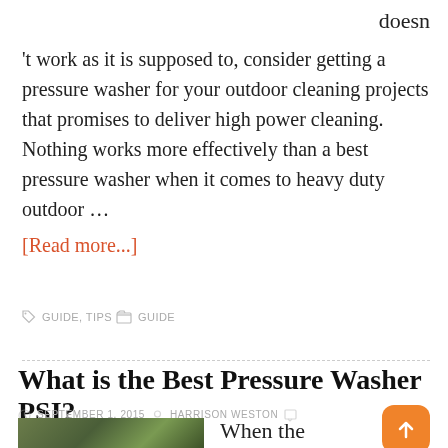doesn't work as it is supposed to, consider getting a pressure washer for your outdoor cleaning projects that promises to deliver high power cleaning. Nothing works more effectively than a best pressure washer when it comes to heavy duty outdoor … [Read more...]
GUIDE, TIPS  GUIDE
What is the Best Pressure Washer PSI?
SEPTEMBER 1, 2015  HARRISON WESTON  LEAVE A COMMENT
When the